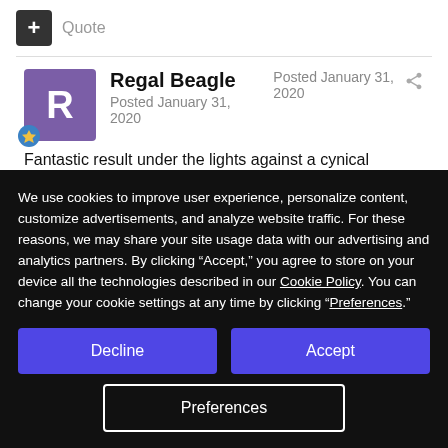+ Quote
Regal Beagle
Posted January 31, 2020
Posted January 31, 2020
Fantastic result under the lights against a cynical opposition who
We use cookies to improve user experience, personalize content, customize advertisements, and analyze website traffic. For these reasons, we may share your site usage data with our advertising and analytics partners. By clicking “Accept,” you agree to store on your device all the technologies described in our Cookie Policy. You can change your cookie settings at any time by clicking “Preferences.”
Decline
Accept
Preferences